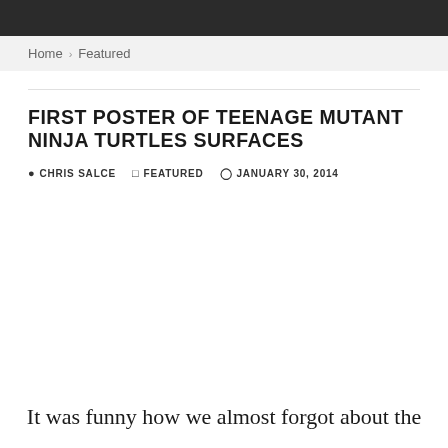Home > Featured
FIRST POSTER OF TEENAGE MUTANT NINJA TURTLES SURFACES
CHRIS SALCE   FEATURED   JANUARY 30, 2014
It was funny how we almost forgot about the